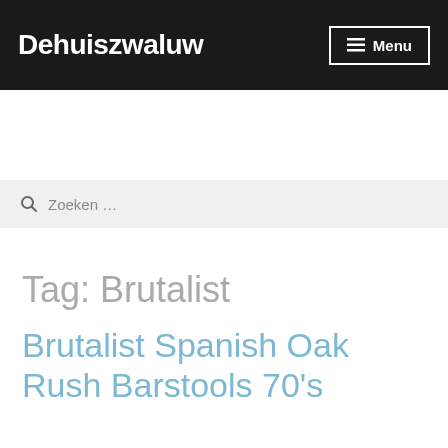Dehuiszwaluw
Zoeken …
Tag: Brutalist
Brutalist Spanish Oak Rush Barstools 70's